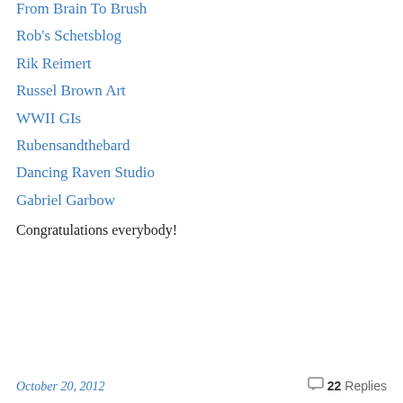From Brain To Brush
Rob's Schetsblog
Rik Reimert
Russel Brown Art
WWII GIs
Rubensandthebard
Dancing Raven Studio
Gabriel Garbow
Congratulations everybody!
October 20, 2012    22 Replies